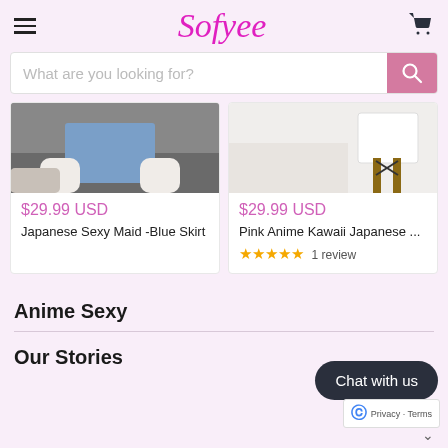Sofyee
What are you looking for?
[Figure (photo): Product image of Japanese Sexy Maid Blue Skirt - shows legs and blue skirt on dark floor]
$29.99 USD
Japanese Sexy Maid -Blue Skirt
[Figure (photo): Product image of Pink Anime Kawaii Japanese item - shows white furniture/table]
$29.99 USD
Pink Anime Kawaii Japanese ...
★★★★★ 1 review
Anime Sexy
Our Stories
Chat with us